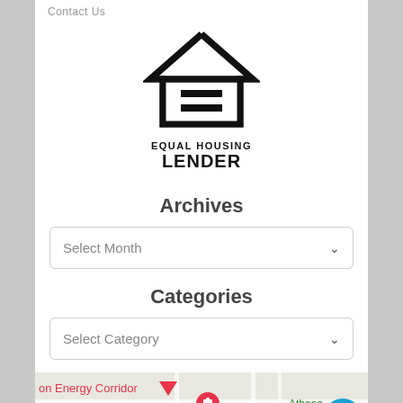Contact Us
[Figure (logo): Equal Housing Lender logo — house outline with equals sign, text EQUAL HOUSING LENDER]
Archives
Select Month
Categories
Select Category
[Figure (map): Google Maps strip showing Energy Corridor area with Gyu-Kaku Japanese BBQ label and Athena label, map pin marker]